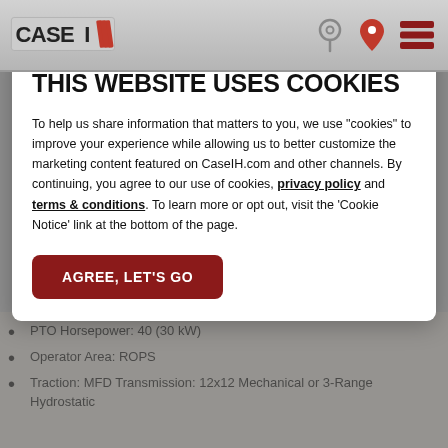CASE IH — website header with logo and navigation icons
THIS WEBSITE USES COOKIES
To help us share information that matters to you, we use "cookies" to improve your experience while allowing us to better customize the marketing content featured on CaseIH.com and other channels. By continuing, you agree to our use of cookies, privacy policy and terms & conditions. To learn more or opt out, visit the 'Cookie Notice' link at the bottom of the page.
AGREE, LET'S GO
PTO Horsepower: 40 (30 kW)
Operator Area: ROPS
Traction: MFD Transmission: 12x12 Mechanical or 3-Range Hydrostatic